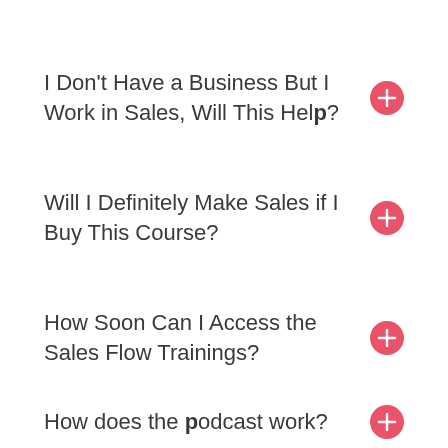I Don't Have a Business But I Work in Sales, Will This Help?
Will I Definitely Make Sales if I Buy This Course?
How Soon Can I Access the Sales Flow Trainings?
How does the podcast work?